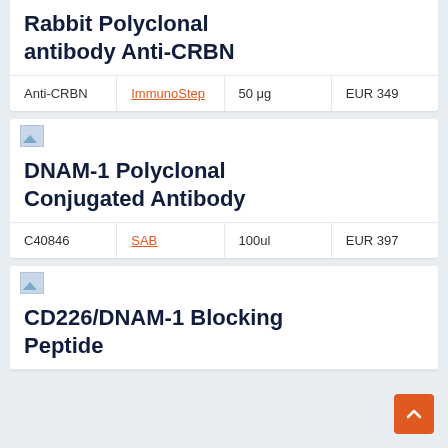Rabbit Polyclonal antibody Anti-CRBN
| Anti-CRBN | ImmunoStep | 50 μg | EUR 349 |
| --- | --- | --- | --- |
[Figure (photo): Small broken image placeholder icon]
DNAM-1 Polyclonal Conjugated Antibody
| C40846 | SAB | 100ul | EUR 397 |
| --- | --- | --- | --- |
[Figure (photo): Small broken image placeholder icon]
CD226/DNAM-1 Blocking Peptide